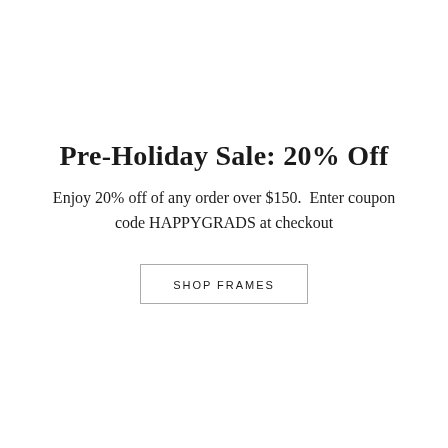Pre-Holiday Sale: 20% Off
Enjoy 20% off of any order over $150.  Enter coupon code HAPPYGRADS at checkout
SHOP FRAMES